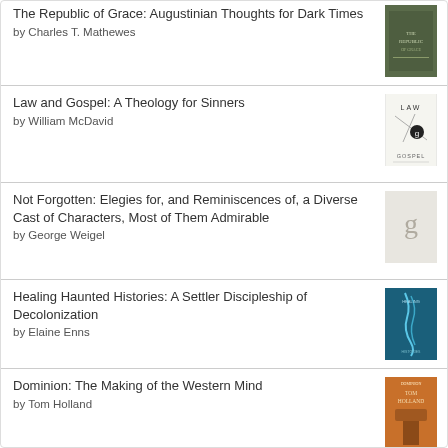The Republic of Grace: Augustinian Thoughts for Dark Times by Charles T. Mathewes
Law and Gospel: A Theology for Sinners by William McDavid
Not Forgotten: Elegies for, and Reminiscences of, a Diverse Cast of Characters, Most of Them Admirable by George Weigel
Healing Haunted Histories: A Settler Discipleship of Decolonization by Elaine Enns
Dominion: The Making of the Western Mind by Tom Holland
[Figure (logo): Goodreads logo button with rounded rectangle border]